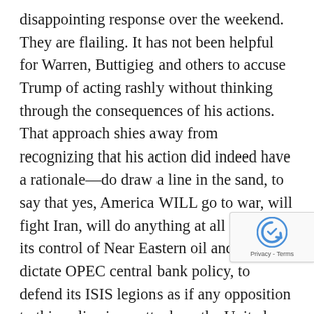disappointing response over the weekend. They are flailing. It has not been helpful for Warren, Buttigieg and others to accuse Trump of acting rashly without thinking through the consequences of his actions. That approach shies away from recognizing that his action did indeed have a rationale—do draw a line in the sand, to say that yes, America WILL go to war, will fight Iran, will do anything at all to defend its control of Near Eastern oil and to dictate OPEC central bank policy, to defend its ISIS legions as if any opposition to this policy is an attack on the United States itself.

“I can understand the emotional response of yet new calls for impeachment of Donald
[Figure (other): reCAPTCHA badge with Privacy - Terms text]